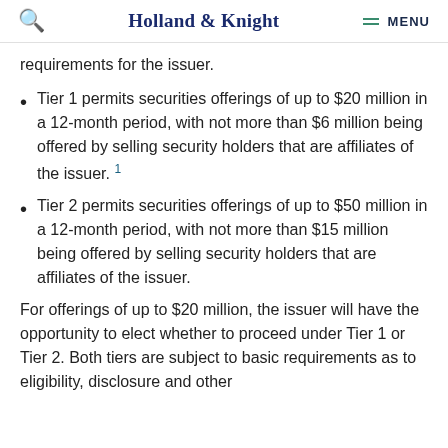Holland & Knight  MENU
requirements for the issuer.
Tier 1 permits securities offerings of up to $20 million in a 12-month period, with not more than $6 million being offered by selling security holders that are affiliates of the issuer. 1
Tier 2 permits securities offerings of up to $50 million in a 12-month period, with not more than $15 million being offered by selling security holders that are affiliates of the issuer.
For offerings of up to $20 million, the issuer will have the opportunity to elect whether to proceed under Tier 1 or Tier 2. Both tiers are subject to basic requirements as to eligibility, disclosure and other